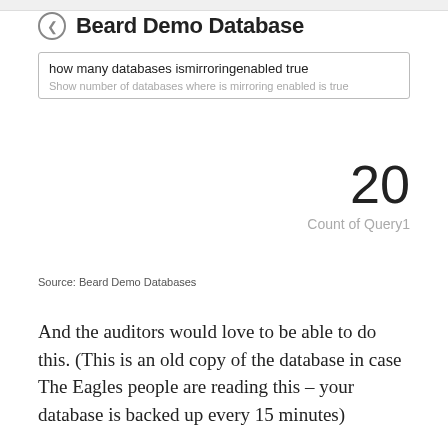Beard Demo Database
how many databases ismirroringenabled true
Show number of databases where is mirroring enabled is true
20
Count of Query1
Source: Beard Demo Databases
And the auditors would love to be able to do this. (This is an old copy of the database in case The Eagles people are reading this – your database is backed up every 15 minutes)